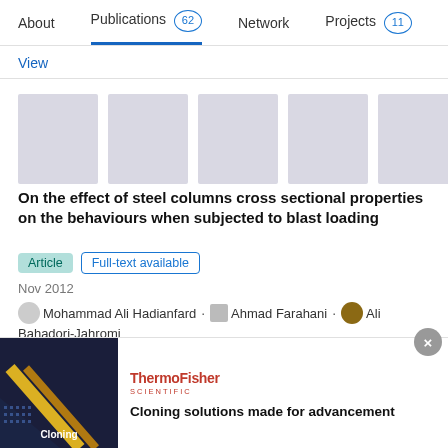About  Publications 62  Network  Projects 11
View
[Figure (screenshot): Five light gray placeholder thumbnail boxes representing publication preview images]
On the effect of steel columns cross sectional properties on the behaviours when subjected to blast loading
Article  Full-text available
Nov 2012
Mohammad Ali Hadianfard · Ahmad Farahani · Ali Bahadori-Jahromi
Advertisement
[Figure (screenshot): ThermoFisher Scientific advertisement banner with dark blue image showing cloning graphic and text: Cloning solutions made for advancement]